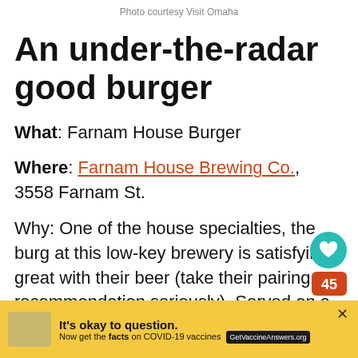Photo courtesy Visit Omaha
An under-the-radar good burger
What: Farnam House Burger
Where: Farnam House Brewing Co., 3558 Farnam St.
Why: One of the house specialties, the burg at this low-key brewery is satisfying great with their beer (take their pairing recommendation seriously). Served on a br...
[Figure (infographic): Social share button (teal heart icon) with share count 45 badge, and a red share icon below]
[Figure (infographic): Advertisement bar: It's okay to question. Now get the facts on COVID-19 vaccines. GetVaccineAnswers.org]
[Figure (infographic): Sidebar promo: 36 Must-Try Restaurants...]